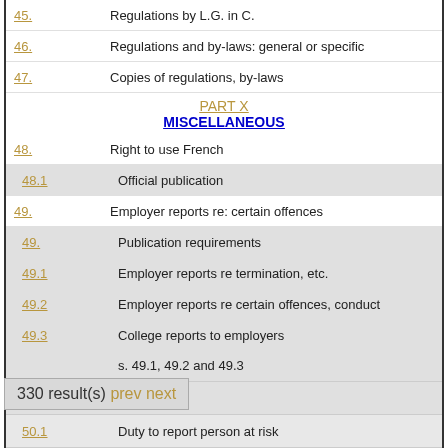45. Regulations by L.G. in C.
46. Regulations and by-laws: general or specific
47. Copies of regulations, by-laws
PART X MISCELLANEOUS
48. Right to use French
48.1 Official publication
49. Employer reports re: certain offences
49. Publication requirements
49.1 Employer reports re termination, etc.
49.2 Employer reports re certain offences, conduct
49.3 College reports to employers
49.4 Application
49.4 Application of s. 49.1, 49.2 and 49.3
330 result(s) prev next
50.1 Duty to report person at risk